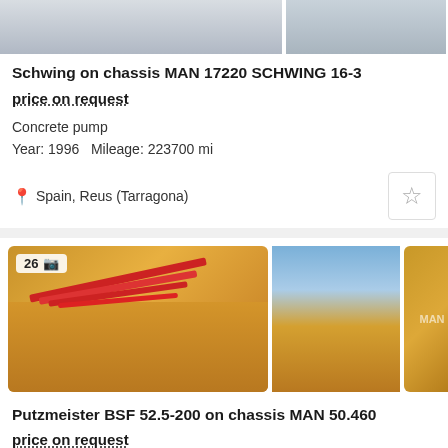[Figure (photo): Three vehicle photos of Schwing concrete pump on MAN 17220 chassis, cropped at top]
Schwing on chassis MAN 17220 SCHWING 16-3
price on request
Concrete pump
Year: 1996   Mileage: 223700 mi
Spain, Reus (Tarragona)
[Figure (photo): Three vehicle photos of Putzmeister BSF 52.5-200 concrete pump on MAN 50.460 chassis, yellow trucks]
Putzmeister BSF 52.5-200 on chassis MAN 50.460
price on request